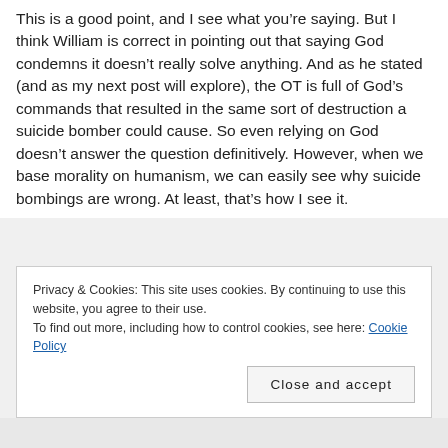This is a good point, and I see what you're saying. But I think William is correct in pointing out that saying God condemns it doesn't really solve anything. And as he stated (and as my next post will explore), the OT is full of God's commands that resulted in the same sort of destruction a suicide bomber could cause. So even relying on God doesn't answer the question definitively. However, when we base morality on humanism, we can easily see why suicide bombings are wrong. At least, that's how I see it.
Privacy & Cookies: This site uses cookies. By continuing to use this website, you agree to their use.
To find out more, including how to control cookies, see here: Cookie Policy